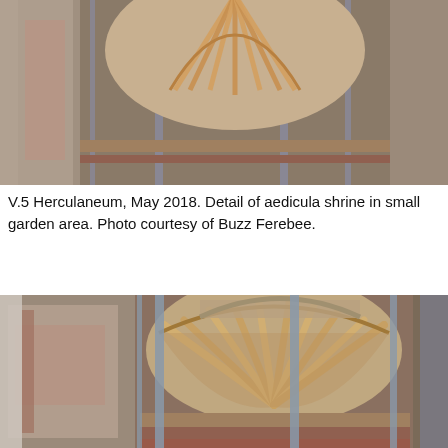[Figure (photo): Detail of aedicula shrine in small garden area at Herculaneum, showing a scallop shell niche with decorative stonework, viewed through metal bars/grating. Top portion of shrine visible.]
V.5 Herculaneum, May 2018. Detail of aedicula shrine in small garden area. Photo courtesy of Buzz Ferebee.
[Figure (photo): Larger detail view of the aedicula shrine at Herculaneum, showing prominent scallop/fan shell decoration in the arched niche, with colorful fresco painting visible on surrounding walls, viewed through vertical metal bars.]